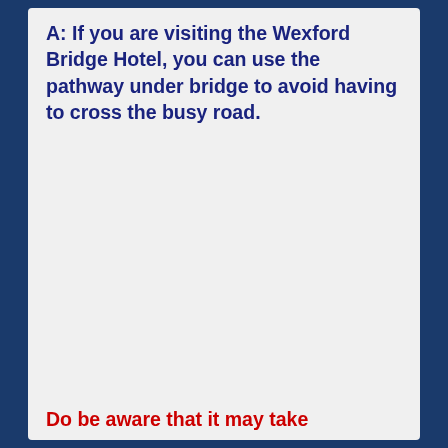A: If you are visiting the Wexford Bridge Hotel, you can use the pathway under bridge to avoid having to cross the busy road.
Do be aware that it may take